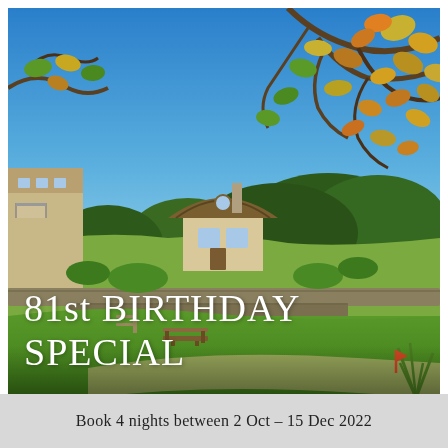[Figure (photo): Outdoor garden and estate photo showing a thatched-roof cottage building on a hillside with terraced gardens, a lawn with a wooden bench in the foreground, and tree branches with autumn leaves framing the top of the image under a clear blue sky.]
81st BIRTHDAY SPECIAL
Book 4 nights between 2 Oct – 15 Dec 2022